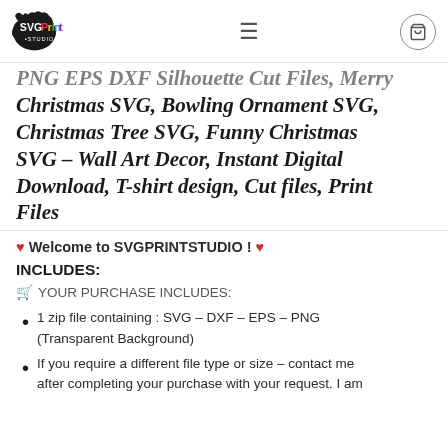SVG Print Studio logo, hamburger menu, cart icon
PNG EPS DXF Silhouette Cut Files, Merry Christmas SVG, Bowling Ornament SVG, Christmas Tree SVG, Funny Christmas SVG – Wall Art Decor, Instant Digital Download, T-shirt design, Cut files, Print Files
♥ Welcome to SVGPRINTSTUDIO ! ♥
INCLUDES:
🛒 YOUR PURCHASE INCLUDES:
1 zip file containing : SVG – DXF – EPS – PNG (Transparent Background)
If you require a different file type or size – contact me after completing your purchase with your request. I am